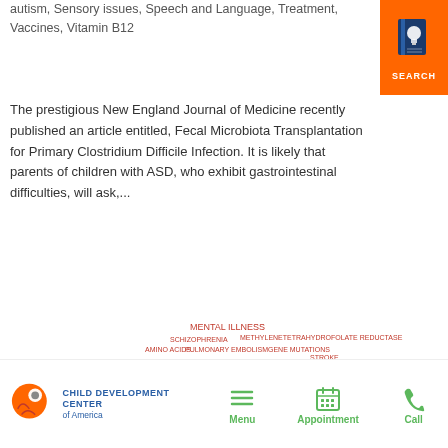autism, Sensory issues, Speech and Language, Treatment, Vaccines, Vitamin B12
[Figure (infographic): Orange search icon with book and lightbulb graphic, labeled SEARCH]
The prestigious New England Journal of Medicine recently published an article entitled, Fecal Microbiota Transplantation for Primary Clostridium Difficile Infection. It is likely that parents of children with ASD, who exhibit gastrointestinal difficulties, will ask,...
[Figure (infographic): Word cloud in the shape of a dome/brain showing medical and health terms including AUTISM, FOLATE, B9, B6, FOLIC ACID, MENTAL ILLNESS, CONVERSION, CANCER, DNA, ENZYME, TOXINS, GENETICS, FLORA, METHYLB12, COPPER, FIBROMYALGIA, STROKE, ADDICTIONS and many more in orange/red tones]
[Figure (logo): Child Development Center of America logo with orange brain/head icon]
Menu | Appointment | Call